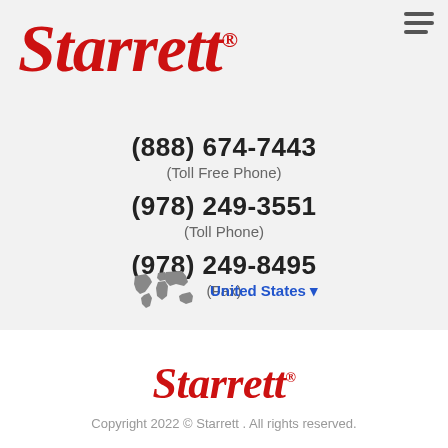[Figure (logo): Starrett red italic logo with registered trademark symbol, large version at top of page]
(888) 674-7443
(Toll Free Phone)
(978) 249-3551
(Toll Phone)
(978) 249-8495
(Fax)
[Figure (illustration): Grey world map icon]
United States
[Figure (logo): Starrett red italic logo with registered trademark symbol, smaller version in footer area]
Copyright 2022 © Starrett . All rights reserved.